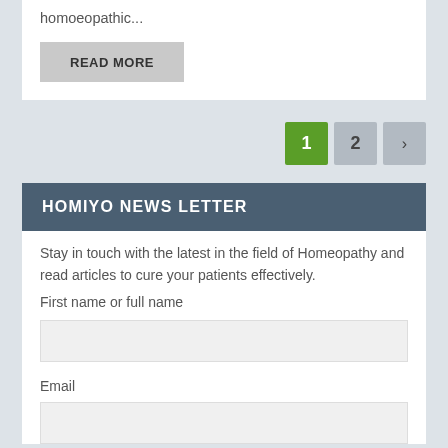homoeopathic...
READ MORE
1 2 ›
HOMIYO NEWS LETTER
Stay in touch with the latest in the field of Homeopathy and read articles to cure your patients effectively.
First name or full name
Email